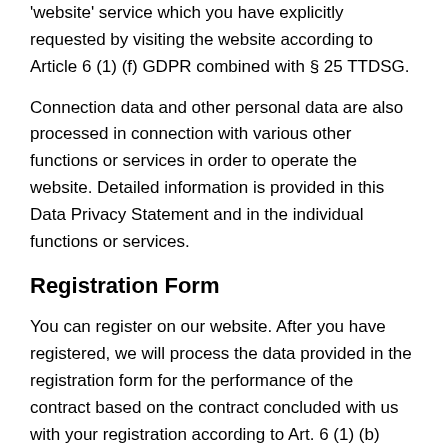'website' service which you have explicitly requested by visiting the website according to Article 6 (1) (f) GDPR combined with § 25 TTDSG.
Connection data and other personal data are also processed in connection with various other functions or services in order to operate the website. Detailed information is provided in this Data Privacy Statement and in the individual functions or services.
Registration Form
You can register on our website. After you have registered, we will process the data provided in the registration form for the performance of the contract based on the contract concluded with us with your registration according to Art. 6 (1) (b) GDPR.